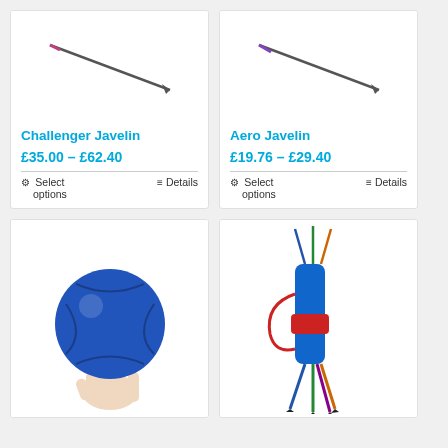[Figure (photo): Challenger Javelin product card with javelin image, price range £35.00 – £62.40, select options and details links]
[Figure (photo): Aero Javelin product card with javelin image, price range £19.76 – £29.40, select options and details links]
[Figure (photo): Medicine ball (blue) held by a hand, product card bottom half visible]
[Figure (photo): Bundled javelin set with blue, red and multicolor javelins in a carrying case, product card bottom half visible]